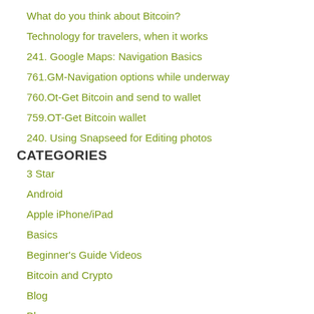What do you think about Bitcoin?
Technology for travelers, when it works
241. Google Maps: Navigation Basics
761.GM-Navigation options while underway
760.Ot-Get Bitcoin and send to wallet
759.OT-Get Bitcoin wallet
240. Using Snapseed for Editing photos
CATEGORIES
3 Star
Android
Apple iPhone/iPad
Basics
Beginner's Guide Videos
Bitcoin and Crypto
Blog
Blogger
Boot Camp
Chromebook
Classes